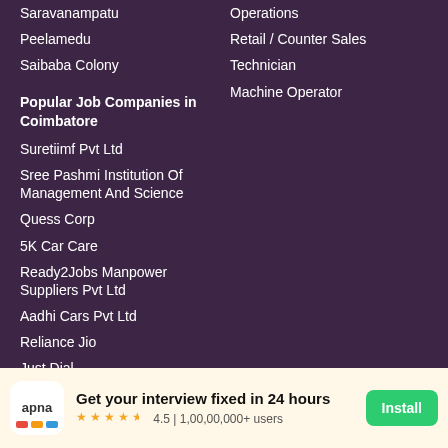Saravanampatu
Peelamedu
Saibaba Colony
Operations
Retail / Counter Sales
Technician
Machine Operator
Popular Job Companies in Coimbatore
Suretiimf Pvt Ltd
Sree Pashmi Institution Of Management And Science
Quess Corp
5K Car Care
Ready2Jobs Manpower Suppliers Pvt Ltd
Aadhi Cars Pvt Ltd
Reliance Jio
Just Dial
Get your interview fixed in 24 hours
4.5 | 1,00,00,000+ users